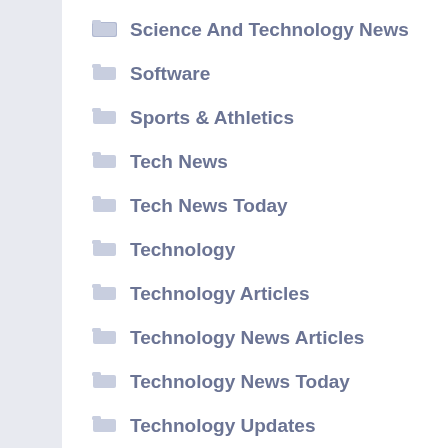Science And Technology News
Software
Sports & Athletics
Tech News
Tech News Today
Technology
Technology Articles
Technology News Articles
Technology News Today
Technology Updates
Travel
Web Resources